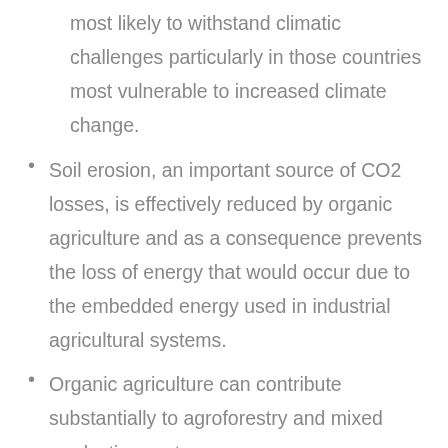most likely to withstand climatic challenges particularly in those countries most vulnerable to increased climate change.
Soil erosion, an important source of CO2 losses, is effectively reduced by organic agriculture and as a consequence prevents the loss of energy that would occur due to the embedded energy used in industrial agricultural systems.
Organic agriculture can contribute substantially to agroforestry and mixed production systems.
Organic systems are highly adaptive to climate change due to the application of traditional skills and